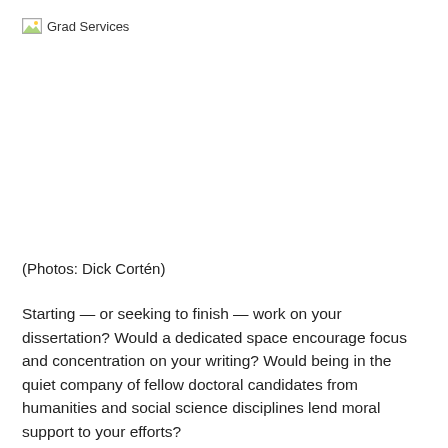[Figure (logo): Grad Services logo with broken image icon and text]
(Photos: Dick Cortén)
Starting — or seeking to finish — work on your dissertation? Would a dedicated space encourage focus and concentration on your writing? Would being in the quiet company of fellow doctoral candidates from humanities and social science disciplines lend moral support to your efforts?